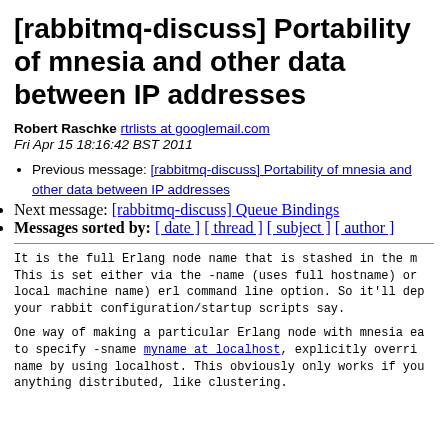[rabbitmq-discuss] Portability of mnesia and other data between IP addresses
Robert Raschke rtrlists at googlemail.com
Fri Apr 15 18:16:42 BST 2011
Previous message: [rabbitmq-discuss] Portability of mnesia and other data between IP addresses
Next message: [rabbitmq-discuss] Queue Bindings
Messages sorted by: [ date ] [ thread ] [ subject ] [ author ]
It is the full Erlang node name that is stashed in the m
This is set either via the -name (uses full hostname) or
local machine name) erl command line option. So it'll dep
your rabbit configuration/startup scripts say.
One way of making a particular Erlang node with mnesia ea
to specify -sname myname at localhost, explicitly overri
name by using localhost. This obviously only works if you
anything distributed, like clustering.